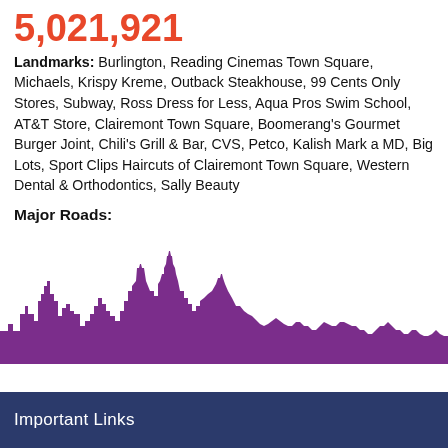5,021,921
Landmarks: Burlington, Reading Cinemas Town Square, Michaels, Krispy Kreme, Outback Steakhouse, 99 Cents Only Stores, Subway, Ross Dress for Less, Aqua Pros Swim School, AT&T Store, Clairemont Town Square, Boomerang's Gourmet Burger Joint, Chili's Grill & Bar, CVS, Petco, Kalish Mark a MD, Big Lots, Sport Clips Haircuts of Clairemont Town Square, Western Dental & Orthodontics, Sally Beauty
Major Roads:
[Figure (illustration): Purple city skyline silhouette illustration]
Important Links